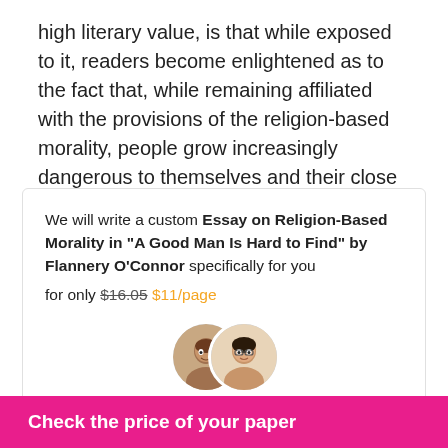high literary value, is that while exposed to it, readers become enlightened as to the fact that, while remaining affiliated with the provisions of the religion-based morality, people grow increasingly dangerous to themselves and their close relatives.
We will write a custom Essay on Religion-Based Morality in "A Good Man Is Hard to Find" by Flannery O'Connor specifically for you for only $16.05 $11/page
[Figure (photo): Two female writers shown as overlapping circular avatar photos]
807 certified writers online
Learn More
Check the price of your paper